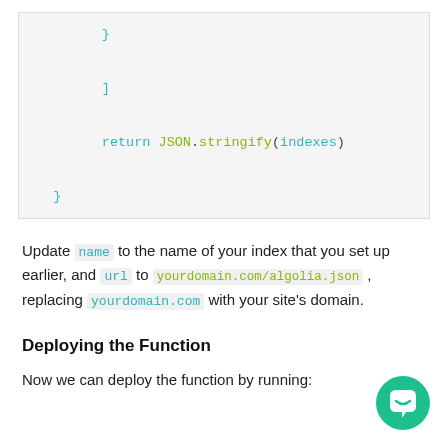[Figure (screenshot): Code block showing closing braces, bracket, and a return statement: return JSON.stringify(indexes)]
Update name to the name of your index that you set up earlier, and url to yourdomain.com/algolia.json , replacing yourdomain.com with your site's domain.
Deploying the Function
Now we can deploy the function by running: